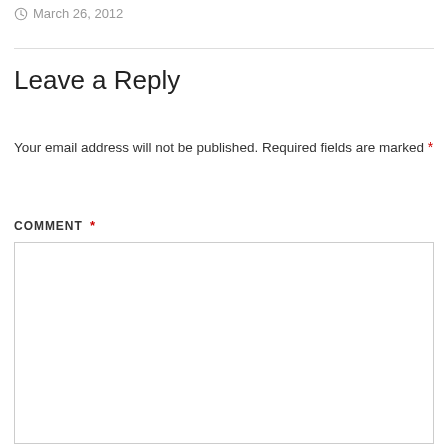March 26, 2012
Leave a Reply
Your email address will not be published. Required fields are marked *
COMMENT *